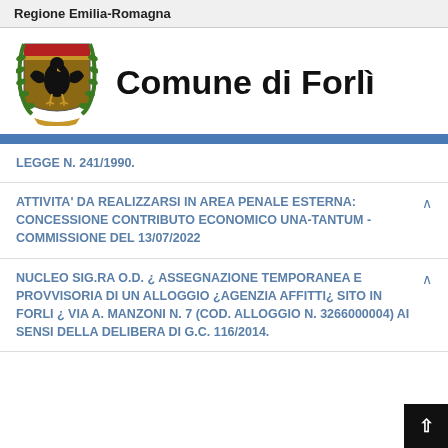Regione Emilia-Romagna
Comune di Forlì
LEGGE N. 241/1990.
ATTIVITA' DA REALIZZARSI IN AREA PENALE ESTERNA: CONCESSIONE CONTRIBUTO ECONOMICO UNA-TANTUM - COMMISSIONE DEL 13/07/2022
NUCLEO SIG.RA O.D. ¿ ASSEGNAZIONE TEMPORANEA E PROVVISORIA DI UN ALLOGGIO ¿AGENZIA AFFITTI¿ SITO IN FORLI ¿ VIA A. MANZONI N. 7 (COD. ALLOGGIO N. 3266000004) AI SENSI DELLA DELIBERA DI G.C. 116/2014.